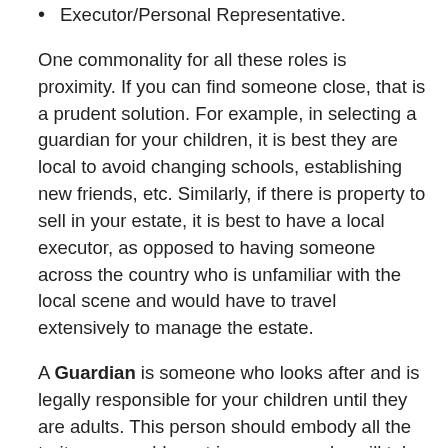Executor/Personal Representative.
One commonality for all these roles is proximity. If you can find someone close, that is a prudent solution. For example, in selecting a guardian for your children, it is best they are local to avoid changing schools, establishing new friends, etc. Similarly, if there is property to sell in your estate, it is best to have a local executor, as opposed to having someone across the country who is unfamiliar with the local scene and would have to travel extensively to manage the estate.
A Guardian is someone who looks after and is legally responsible for your children until they are adults. This person should embody all the traits you would want in someone who will take care of your kids in the event you are no longer around. Often, this is a family member with close proximity (as outlined above). Keeping your kids